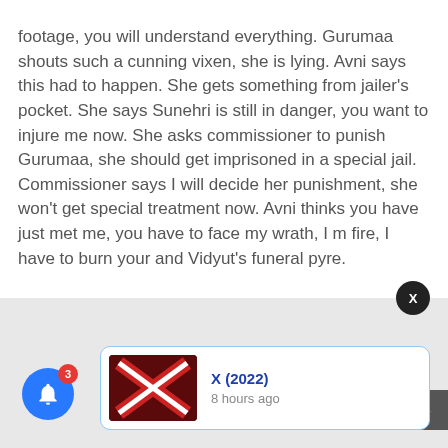footage, you will understand everything. Gurumaa shouts such a cunning vixen, she is lying. Avni says this had to happen. She gets something from jailer's pocket. She says Sunehri is still in danger, you want to injure me now. She asks commissioner to punish Gurumaa, she should get imprisoned in a special jail. Commissioner says I will decide her punishment, she won't get special treatment now. Avni thinks you have just met me, you have to face my wrath, I m fire, I have to burn your and Vidyut's funeral pyre.
[Figure (screenshot): Notification card showing 'X (2022)' with a thumbnail image of a red X-shaped graphic, posted 8 hours ago. Blue bell notification icon with badge showing 3, a black X close button, and a dark scroll-to-top arrow button.]